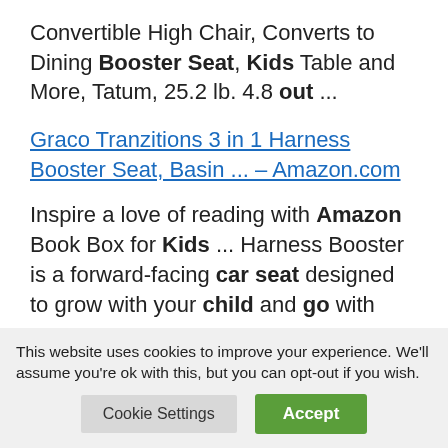Convertible High Chair, Converts to Dining Booster Seat, Kids Table and More, Tatum, 25.2 lb. 4.8 out ...
Graco Tranzitions 3 in 1 Harness Booster Seat, Basin ... – Amazon.com
Inspire a love of reading with Amazon Book Box for Kids ... Harness Booster is a forward-facing car seat designed to grow with your child and go with you, ...
This website uses cookies to improve your experience. We'll assume you're ok with this, but you can opt-out if you wish.